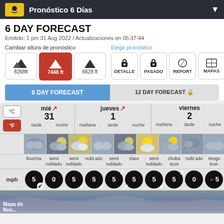Pronóstico 6 Días
6 DAY FORECAST
Emitido: 1 pm 31 Aug 2022 / Actualizaciones en 05:37:44
Cambiar altura de pronóstico: 8268ft, 7448ft (selected), 6628ft
Elegir pronóstico: DETALLE, PASADO, REPORT, MAPAS
6 DAY FORECAST | 12 DAY FORECAST
|  | mié 31 tarde | mié 31 noche | jueves 1 mañana | jueves 1 tarde | jueves 1 noche | viernes 2 mañana | viernes 2 tarde | viernes 2 noche | sábado 3 mañana | sábado 3 tarde |
| --- | --- | --- | --- | --- | --- | --- | --- | --- | --- | --- |
| condition | llovizna | semi nublado | semi nublado | nubl ado | semi nublado | claro | semi nublado | chuba scos | nubl ado | riesgo true- |
| wind mph | 5↙ | 0↓ | 5↙ | 5↙ | 5↗ | 5↙ | 5↙ | 5↗ | 0 | ←5 |
[Figure (screenshot): Weather map section showing cloud/terrain imagery at bottom]